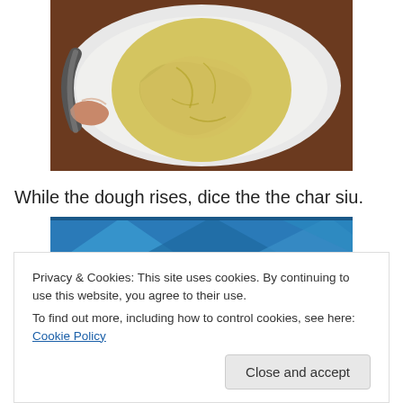[Figure (photo): A ball of dough in a white ceramic bowl, with a finger visible at the left edge. The dough is pale yellow and has a rough texture.]
While the dough rises, dice the the char siu.
[Figure (photo): Partial view of a second photo showing a blue geometric patterned background, partially obscured by a cookie consent banner.]
Privacy & Cookies: This site uses cookies. By continuing to use this website, you agree to their use.
To find out more, including how to control cookies, see here: Cookie Policy
Close and accept